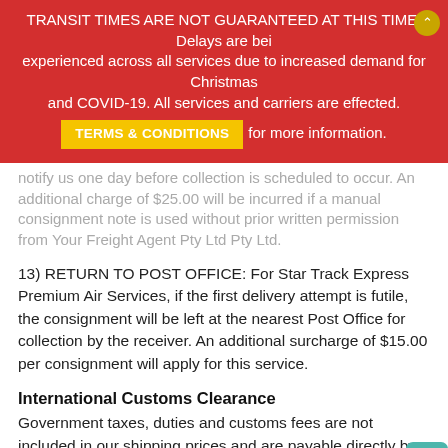TRANSIT TIMES ARE NOT GUARANTEED AT THIS TIME. Delays are being experienced across all services due to increased demand for Christmas and COVID-19. All services and carriers are effected. TERMS & CONDITIONS for more information.
notify us one day before collection is scheduled to occur. An additional charge of $25.00 will be incurred if a manual consignment note is used without prior written permission from Your Freight Agent Pty Ltd Pty Ltd.
13) RETURN TO POST OFFICE: For Star Track Express Premium Air Services, if the first delivery attempt is futile, the consignment will be left at the nearest Post Office for collection by the receiver. An additional surcharge of $15.00 per consignment will apply for this service.
International Customs Clearance
Government taxes, duties and customs fees are not included in our shipping prices and are payable directly by the customer prior to final delivery, if applicable. The